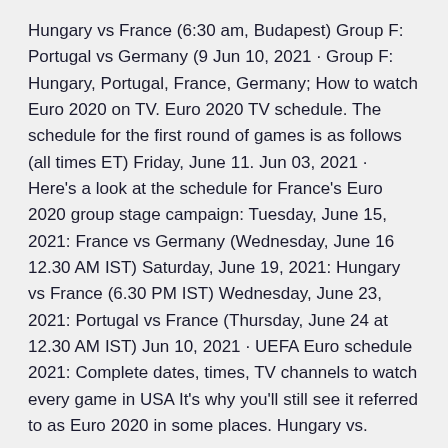Hungary vs France (6:30 am, Budapest) Group F: Portugal vs Germany (9 Jun 10, 2021 · Group F: Hungary, Portugal, France, Germany; How to watch Euro 2020 on TV. Euro 2020 TV schedule. The schedule for the first round of games is as follows (all times ET) Friday, June 11. Jun 03, 2021 · Here's a look at the schedule for France's Euro 2020 group stage campaign: Tuesday, June 15, 2021: France vs Germany (Wednesday, June 16 12.30 AM IST) Saturday, June 19, 2021: Hungary vs France (6.30 PM IST) Wednesday, June 23, 2021: Portugal vs France (Thursday, June 24 at 12.30 AM IST) Jun 10, 2021 · UEFA Euro schedule 2021: Complete dates, times, TV channels to watch every game in USA It's why you'll still see it referred to as Euro 2020 in some places. Hungary vs.